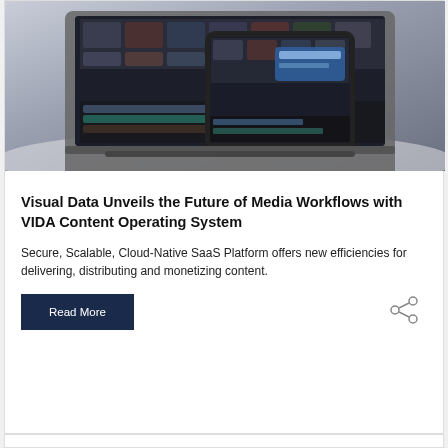[Figure (photo): Photo of a laptop and tablet showing media workflow software interface with dark UI and video timeline]
Visual Data Unveils the Future of Media Workflows with VIDA Content Operating System
Secure, Scalable, Cloud-Native SaaS Platform offers new efficiencies for delivering, distributing and monetizing content.
Read More